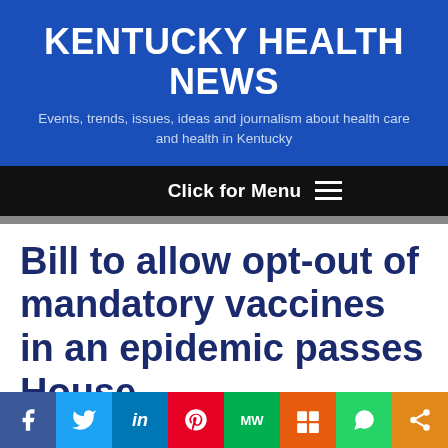KENTUCKY HEALTH NEWS
Events, trends, issues, ideas and journalism about health care and health in Kentucky
Click for Menu
Bill to allow opt-out of mandatory vaccines in an epidemic passes House,